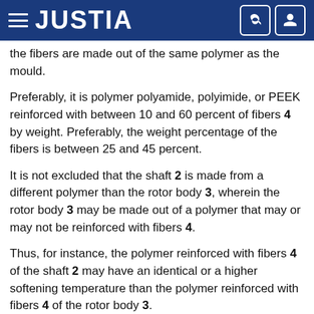JUSTIA
the fibers are made out of the same polymer as the mould.
Preferably, it is polymer polyamide, polyimide, or PEEK reinforced with between 10 and 60 percent of fibers 4 by weight. Preferably, the weight percentage of the fibers is between 25 and 45 percent.
It is not excluded that the shaft 2 is made from a different polymer than the rotor body 3, wherein the rotor body 3 may be made out of a polymer that may or may not be reinforced with fibers 4.
Thus, for instance, the polymer reinforced with fibers 4 of the shaft 2 may have an identical or a higher softening temperature than the polymer reinforced with fibers 4 of the rotor body 3.